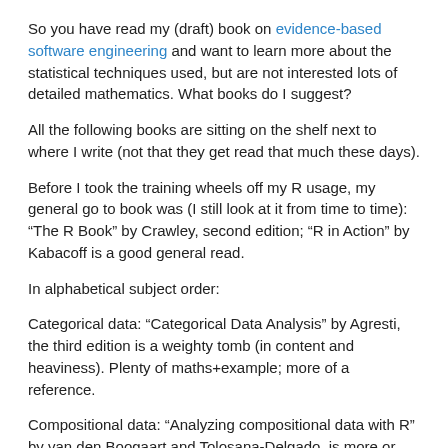So you have read my (draft) book on evidence-based software engineering and want to learn more about the statistical techniques used, but are not interested lots of detailed mathematics. What books do I suggest?
All the following books are sitting on the shelf next to where I write (not that they get read that much these days).
Before I took the training wheels off my R usage, my general go to book was (I still look at it from time to time): “The R Book” by Crawley, second edition; “R in Action” by Kabacoff is a good general read.
In alphabetical subject order:
Categorical data: “Categorical Data Analysis” by Agresti, the third edition is a weighty tomb (in content and heaviness). Plenty of maths+example; more of a reference.
Compositional data: “Analyzing compositional data with R” by van den Boogaart and Tolosana-Delgado, is more or less the only book of its kind. Thankfully, it is quite good.
Count data: “Modeling count data” by Hilbe, may be more than you want to know about count data. Readable.